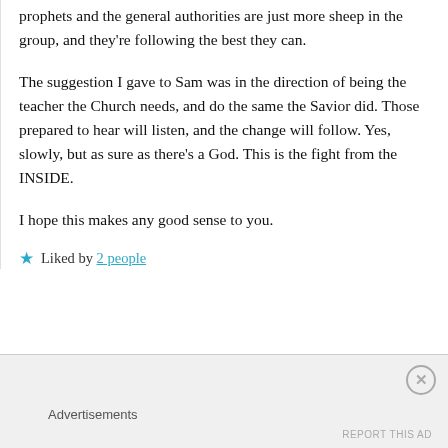prophets and the general authorities are just more sheep in the group, and they're following the best they can.
The suggestion I gave to Sam was in the direction of being the teacher the Church needs, and do the same the Savior did. Those prepared to hear will listen, and the change will follow. Yes, slowly, but as sure as there's a God. This is the fight from the INSIDE.
I hope this makes any good sense to you.
★ Liked by 2 people
Advertisements